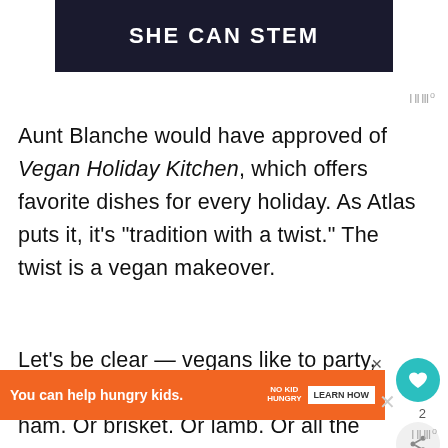[Figure (logo): Dark banner with white bold text reading SHE CAN STEM]
Aunt Blanche would have approved of Vegan Holiday Kitchen, which offers favorite dishes for every holiday. As Atlas puts it, it’s “tradition with a twist.” The twist is a vegan makeover.
Let’s be clear — vegans like to party, too. We just choose not to do it with ham. Or brisket. Or lamb. Or all the other meaty,
[Figure (infographic): Orange advertisement banner: You can help hungry kids. No Kid Hungry logo. Learn How button. Close X button.]